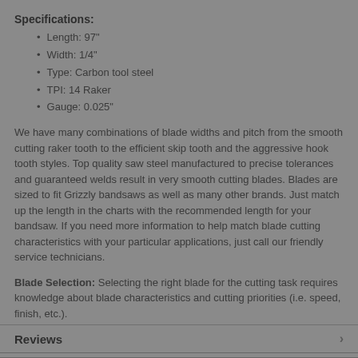Specifications:
Length: 97"
Width: 1/4"
Type: Carbon tool steel
TPI: 14 Raker
Gauge: 0.025"
We have many combinations of blade widths and pitch from the smooth cutting raker tooth to the efficient skip tooth and the aggressive hook tooth styles. Top quality saw steel manufactured to precise tolerances and guaranteed welds result in very smooth cutting blades. Blades are sized to fit Grizzly bandsaws as well as many other brands. Just match up the length in the charts with the recommended length for your bandsaw. If you need more information to help match blade cutting characteristics with your particular applications, just call our friendly service technicians.
Blade Selection: Selecting the right blade for the cutting task requires knowledge about blade characteristics and cutting priorities (i.e. speed, finish, etc.).
Blade Length: Measured by the blade circumference, blade
Reviews